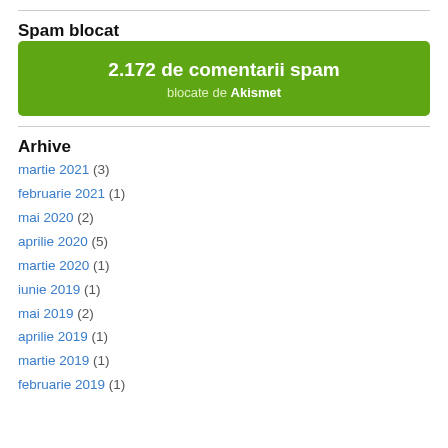Spam blocat
[Figure (infographic): Green Akismet spam blocker widget showing '2.172 de comentarii spam blocate de Akismet']
Arhive
martie 2021 (3)
februarie 2021 (1)
mai 2020 (2)
aprilie 2020 (5)
martie 2020 (1)
iunie 2019 (1)
mai 2019 (2)
aprilie 2019 (1)
martie 2019 (1)
februarie 2019 (1)